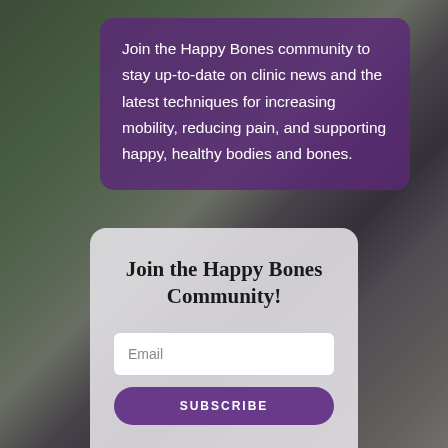[Figure (photo): Background photo of people in a clinic setting with green plants, showing hands-on treatment or consultation. Dark overlay applied.]
Join the Happy Bones community to stay up-to-date on clinic news and the latest techniques for increasing mobility, reducing pain, and supporting happy, healthy bodies and bones.
Join the Happy Bones Community!
Email
SUBSCRIBE